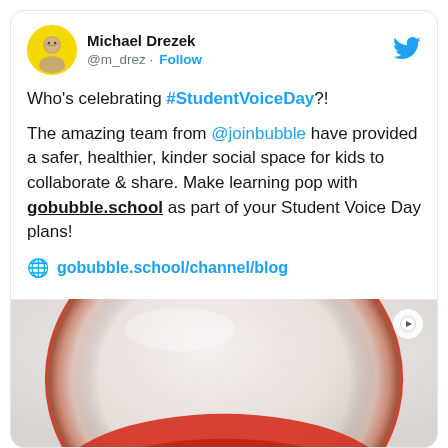Michael Drezek @m_drez · Follow
Who's celebrating #StudentVoiceDay?!

The amazing team from @joinbubble have provided a safer, healthier, kinder social space for kids to collaborate & share. Make learning pop with gobubble.school as part of your Student Voice Day plans!

🌐 gobubble.school/channel/blog
[Figure (photo): Close-up photo of a red and white soap bubble or glass bubble object, viewed from above, with a curved red rim visible against a white background.]